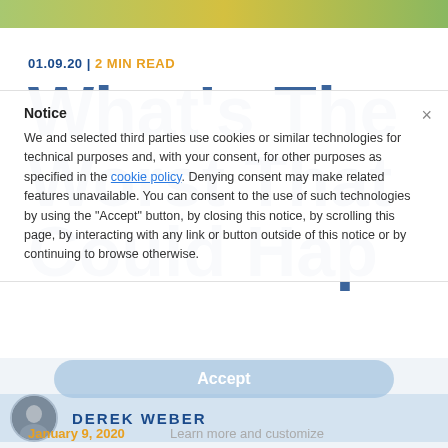01.09.20 | 2 MIN READ
What's The Worst That Could Happen
Notice

We and selected third parties use cookies or similar technologies for technical purposes and, with your consent, for other purposes as specified in the cookie policy. Denying consent may make related features unavailable. You can consent to the use of such technologies by using the "Accept" button, by closing this notice, by scrolling this page, by interacting with any link or button outside of this notice or by continuing to browse otherwise.
Accept
DEREK WEBER
January 9, 2020
Learn more and customize